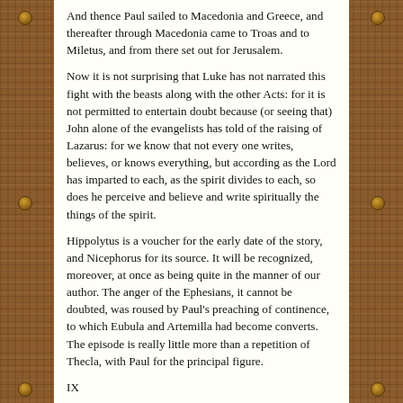And thence Paul sailed to Macedonia and Greece, and thereafter through Macedonia came to Troas and to Miletus, and from there set out for Jerusalem.
Now it is not surprising that Luke has not narrated this fight with the beasts along with the other Acts: for it is not permitted to entertain doubt because (or seeing that) John alone of the evangelists has told of the raising of Lazarus: for we know that not every one writes, believes, or knows everything, but according as the Lord has imparted to each, as the spirit divides to each, so does he perceive and believe and write spiritually the things of the spirit.
Hippolytus is a voucher for the early date of the story, and Nicephorus for its source. It will be recognized, moreover, at once as being quite in the manner of our author. The anger of the Ephesians, it cannot be doubted, was roused by Paul's preaching of continence, to which Eubula and Artemilla had become converts. The episode is really little more than a repetition of Thecla, with Paul for the principal figure.
IX